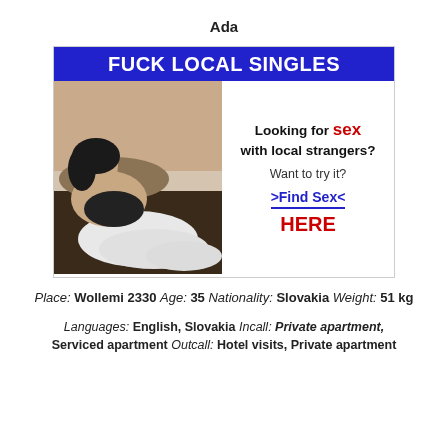Ada
[Figure (advertisement): Adult dating advertisement banner: blue header reading FUCK LOCAL SINGLES, left side shows photo of a woman lying on a bed, right side reads: Looking for sex with local strangers? Want to try it? >Find Sex< HERE]
Place: Wollemi 2330 Age: 35 Nationality: Slovakia Weight: 51 kg
Languages: English, Slovakia Incall: Private apartment, Serviced apartment Outcall: Hotel visits, Private apartment